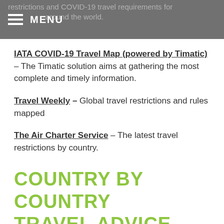restrictions and COVID-19 travel requirements for travelers around the world. MENU
IATA COVID-19 Travel Map (powered by Timatic) – The Timatic solution aims at gathering the most complete and timely information.
Travel Weekly – Global travel restrictions and rules mapped
The Air Charter Service – The latest travel restrictions by country.
COUNTRY BY COUNTRY TRAVEL ADVICE
Below are the top sources of information